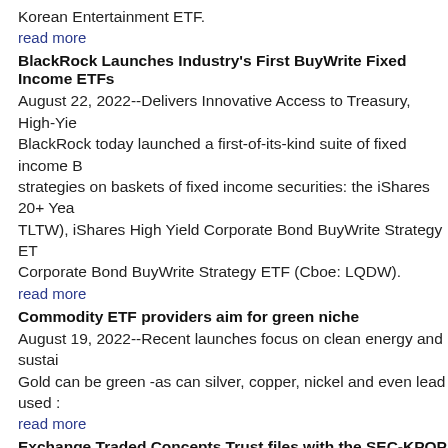Korean Entertainment ETF.
read more
BlackRock Launches Industry's First BuyWrite Fixed Income ETFs
August 22, 2022--Delivers Innovative Access to Treasury, High-Yie... BlackRock today launched a first-of-its-kind suite of fixed income B... strategies on baskets of fixed income securities: the iShares 20+ Yea... TLTW), iShares High Yield Corporate Bond BuyWrite Strategy ET... Corporate Bond BuyWrite Strategy ETF (Cboe: LQDW).
read more
Commodity ETF providers aim for green niche
August 19, 2022--Recent launches focus on clean energy and sustai... Gold can be green -as can silver, copper, nickel and even lead used ...
read more
Exchange Traded Concepts Trust files with the SEC-KPOP and Korean Enter...
August 19, 2022-Exchange Traded Concepts Trust has filed a Form... KPOP and Korean Entertainment ETF.
read more
Innovator ETFs Trust files with the SEC-Innovator Gradient Tactical Rotation...
August 19, 2022-Innovator ETFs Trust has filed a a post-effective a... Innovator Gradient Tactical Rotation Strategy ETF.